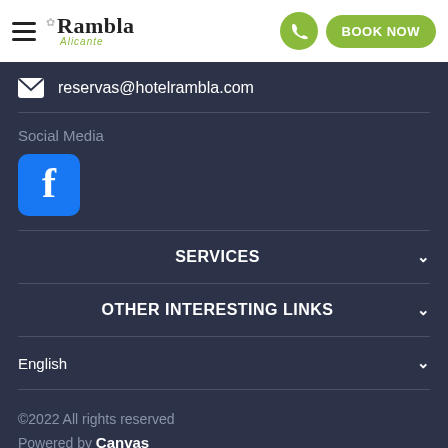[Figure (logo): Rambla Alicante hotel logo with hamburger menu icon on left, phone button and Book Now button on right]
reservas@hotelrambla.com
Social Media
[Figure (logo): Facebook logo icon - blue square with white f]
SERVICES
OTHER INTERESTING LINKS
English
©2022 All rights reserved
Powered by Canvas